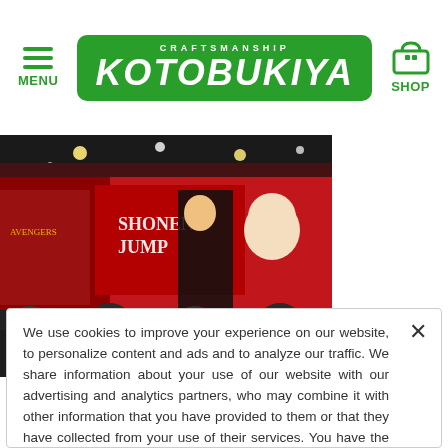MENU | KOTOBUKIYA | SHOP
[Figure (photo): Convention hall crowd scene with Shonen Jump and anime character banners including One Punch Man, Naruto, and other characters on large red display backdrops]
We use cookies to improve your experience on our website, to personalize content and ads and to analyze our traffic. We share information about your use of our website with our advertising and analytics partners, who may combine it with other information that you have provided to them or that they have collected from your use of their services. You have the right to opt-out of our sharing information about you with our partners. Please click [Do Not Sell My Personal Information] to opt-out or customize your cookie settings on our website. Cookie Policy